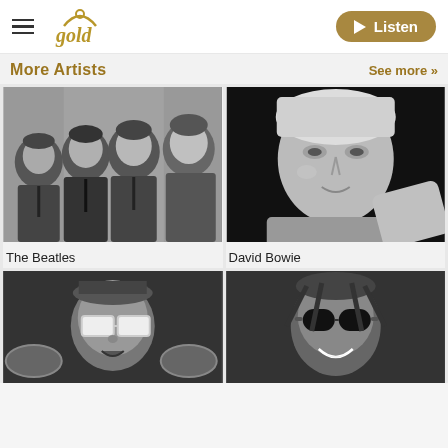gold — Listen
More Artists
See more »
[Figure (photo): Black and white photo of The Beatles — four young men in suits]
The Beatles
[Figure (photo): Black and white close-up photo of David Bowie]
David Bowie
[Figure (photo): Black and white photo of Elton John performing with large white-framed sunglasses]
[Figure (photo): Black and white photo of Stevie Wonder wearing dark sunglasses]